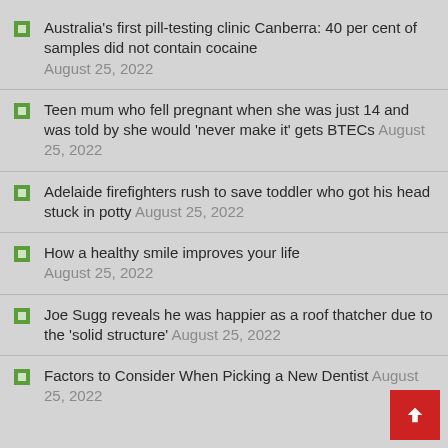Australia's first pill-testing clinic Canberra: 40 per cent of samples did not contain cocaine August 25, 2022
Teen mum who fell pregnant when she was just 14 and was told by she would 'never make it' gets BTECs August 25, 2022
Adelaide firefighters rush to save toddler who got his head stuck in potty August 25, 2022
How a healthy smile improves your life August 25, 2022
Joe Sugg reveals he was happier as a roof thatcher due to the 'solid structure' August 25, 2022
Factors to Consider When Picking a New Dentist August 25, 2022